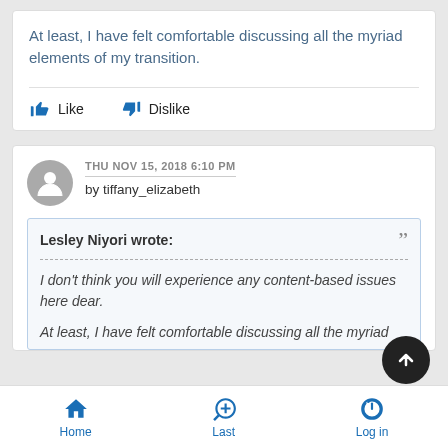At least, I have felt comfortable discussing all the myriad elements of my transition.
THU NOV 15, 2018 6:10 PM
by tiffany_elizabeth
Lesley Niyori wrote:
I don't think you will experience any content-based issues here dear.

At least, I have felt comfortable discussing all the myriad
Home   Last   Log in